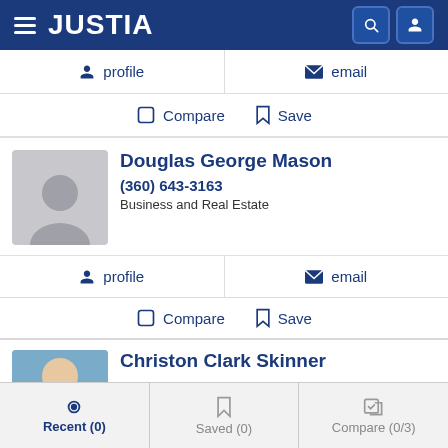JUSTIA
profile
email
Compare Save
Douglas George Mason
(360) 643-3163
Business and Real Estate
profile
email
Compare Save
Christon Clark Skinner
Recent (0)
Saved (0)
Compare (0/3)